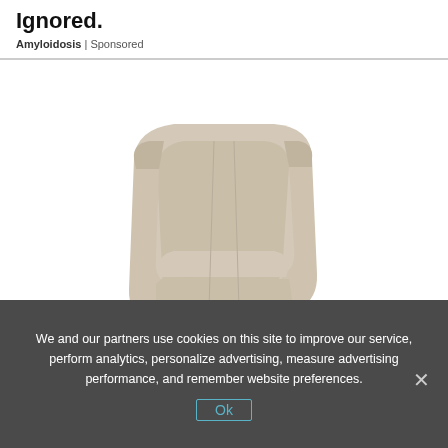Ignored.
Amyloidosis | Sponsored
[Figure (photo): A beige/tan upholstered recliner chair with footrest extended, photographed at an angle on a white background.]
We and our partners use cookies on this site to improve our service, perform analytics, personalize advertising, measure advertising performance, and remember website preferences.
Ok